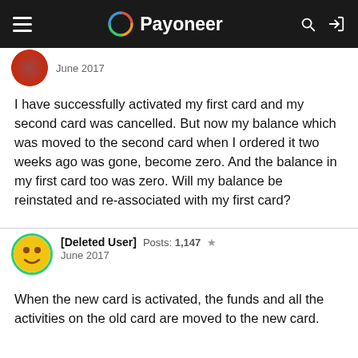Payoneer
June 2017
I have successfully activated my first card and my second card was cancelled. But now my balance which was moved to the second card when I ordered it two weeks ago was gone, become zero. And the balance in my first card too was zero. Will my balance be reinstated and re-associated with my first card?
[Deleted User]  Posts: 1,147  ★  June 2017
When the new card is activated, the funds and all the activities on the old card are moved to the new card.